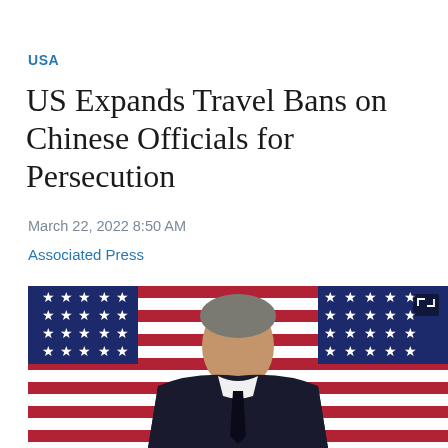USA
US Expands Travel Bans on Chinese Officials for Persecution
March 22, 2022 8:50 AM
Associated Press
[Figure (photo): Man in dark suit speaking in front of multiple US flags, upper-body shot]